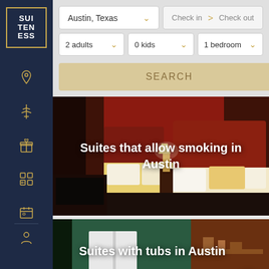[Figure (screenshot): Suiteness hotel booking app sidebar logo — SUI TEN ESS in bordered box on dark navy background]
[Figure (screenshot): Navigation icons on sidebar: map pin, airport/tower, gift, building grid, calendar]
Austin, Texas
Check in > Check out
2 adults
0 kids
1 bedroom
SEARCH
Suites that allow smoking in Austin
[Figure (photo): Hotel room with two queen beds, orange/red headboards, yellow bedding, dark decor]
Suites with tubs in Austin
[Figure (photo): Hotel suite interior with green walls and bathroom visible]